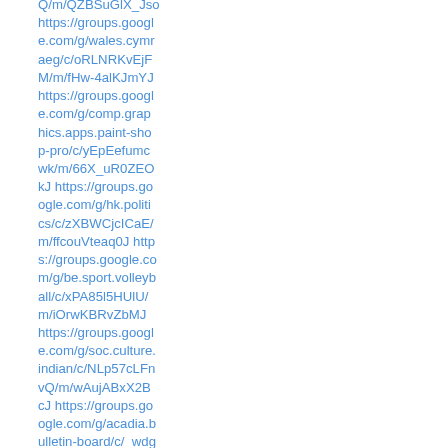Q/m/QZBSuGlX_Jso https://groups.google.com/g/wales.cymraeg/c/oRLNRKvEjFM/m/fHw-4alKJmYJ https://groups.google.com/g/comp.graphics.apps.paint-shop-pro/c/yEpEefumcwk/m/66X_uR0ZEOkJ https://groups.google.com/g/hk.politics/c/zXBWCjcICaE/m/ffcouVteaq0J https://groups.google.com/g/be.sport.volleyball/c/xPA85l5HUlU/m/iOrwKBRvZbMJ https://groups.google.com/g/soc.culture.indian/c/NLp57cLFnvQ/m/wAujABxX2BcJ https://groups.google.com/g/acadia.bulletin-board/c/_wdgTKdJVDI/m/364rEWmtSslJ https://groups.google.com/g/soc.bi/c/6DsE3PKUX2s/m/BhFkwFsEUOMJ